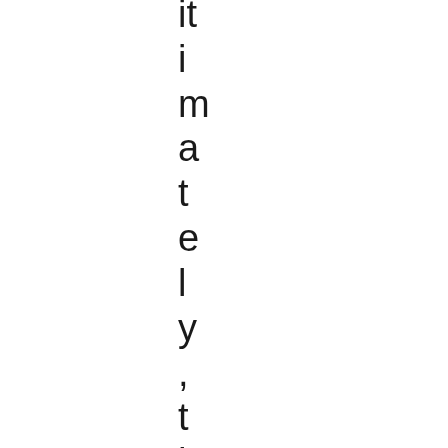it
i
m
a
t
e
l
y
,
t
h
o
u
g
h
,